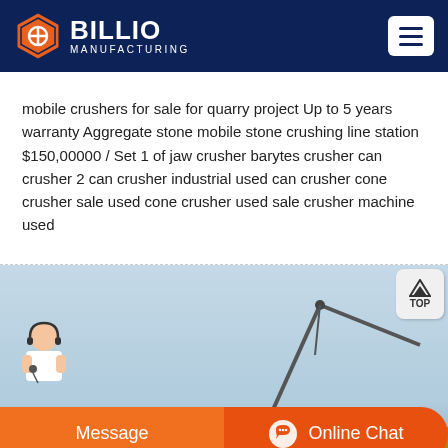BILLIO MANUFACTURING
mobile crushers for sale for quarry project Up to 5 years warranty Aggregate stone mobile stone crushing line station $150,00000 / Set 1 of jaw crusher barytes crusher can crusher 2 can crusher industrial used can crusher cone crusher sale used cone crusher used sale crusher machine used
[Figure (photo): Industrial crane or construction equipment against a blue sky, with crane arm extending diagonally across the frame. Bottom portion shows yellow/orange industrial machinery or material.]
Message
Online Chat